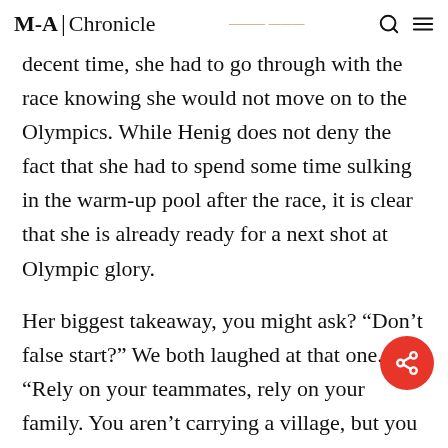M-A Chronicle
decent time, she had to go through with the race knowing she would not move on to the Olympics. While Henig does not deny the fact that she had to spend some time sulking in the warm-up pool after the race, it is clear that she is already ready for a next shot at Olympic glory.
Her biggest takeaway, you might ask? “Don’t false start?” We both laughed at that one. “Rely on your teammates, rely on your family. You aren’t carrying a village, but you are supported by one… I